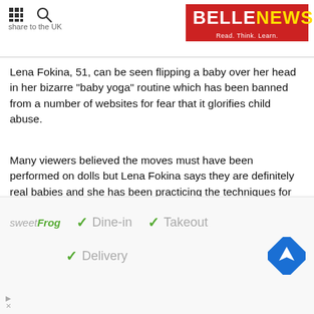BELLE NEWS — Read. Think. Learn.
Lena Fokina, 51, can be seen flipping a baby over her head in her bizarre "baby yoga" routine which has been banned from a number of websites for fear that it glorifies child abuse.
Many viewers believed the moves must have been performed on dolls but Lena Fokina says they are definitely real babies and she has been practicing the techniques for the past 30 years.
The Russian therapist was tracked down at a seminar called "Parenting the Deliberate Way" in Dahab, Egypt, where parents from across Europe were paying her to perform the same moves on their infants, some just months old.
lo most of the babies were left screaming in tears or vomited
[Figure (infographic): sweetFrog ad banner showing Dine-in, Takeout, and Delivery options with green checkmarks and a navigation icon]